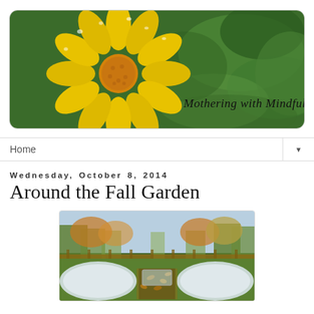[Figure (photo): Blog header banner showing a close-up yellow flower (daisy/calendula) with water droplets on green background. Text overlay reads 'Mothering with Mindfulness' in cursive script.]
Home
Wednesday, October 8, 2014
Around the Fall Garden
[Figure (photo): Outdoor fall garden with row covers/cold frames (white fabric hoops) over garden beds, surrounded by autumn trees with fence in background.]